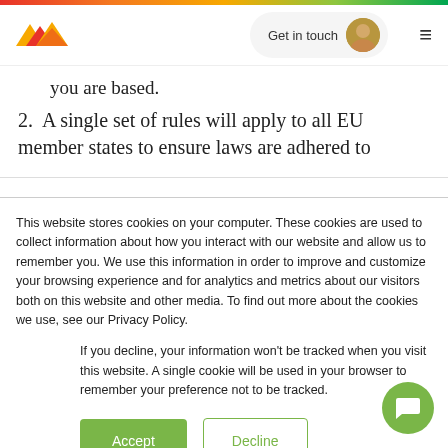you are based.
2. A single set of rules will apply to all EU member states to ensure laws are adhered to
This website stores cookies on your computer. These cookies are used to collect information about how you interact with our website and allow us to remember you. We use this information in order to improve and customize your browsing experience and for analytics and metrics about our visitors both on this website and other media. To find out more about the cookies we use, see our Privacy Policy.
If you decline, your information won't be tracked when you visit this website. A single cookie will be used in your browser to remember your preference not to be tracked.
Accept  Decline